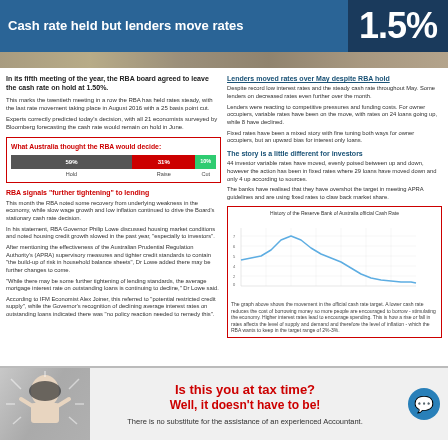Cash rate held but lenders move rates — 1.5%
In its fifth meeting of the year, the RBA board agreed to leave the cash rate on hold at 1.50%.
This marks the twentieth meeting in a row the RBA has held rates steady, with the last rate movement taking place in August 2016 with a 25 basis point cut.
Experts correctly predicted today's decision, with all 21 economists surveyed by Bloomberg forecasting the cash rate would remain on hold in June.
[Figure (bar-chart): What Australia thought the RBA would decide:]
RBA signals "further tightening" to lending
This month the RBA noted some recovery from underlying weakness in the economy, while slow wage growth and low inflation continued to drive the Board's stationary cash rate decision.
In his statement, RBA Governor Philip Lowe discussed housing market conditions and noted housing credit growth slowed in the past year, "especially to investors".
After mentioning the effectiveness of the Australian Prudential Regulation Authority's (APRA) supervisory measures and tighter credit standards to contain "the build-up of risk in household balance sheets", Dr Lowe added there may be further changes to come.
"While there may be some further tightening of lending standards, the average mortgage interest rate on outstanding loans is continuing to decline," Dr Lowe said.
According to IFM Economist Alex Joiner, this referred to "potential restricted credit supply", while the Governor's recognition of declining average interest rates on outstanding loans indicated there was "no policy reaction needed to remedy this".
Lenders moved rates over May despite RBA hold
Despite record low interest rates and the steady cash rate throughout May. Some lenders on decreased rates even further over the month.
Lenders were reacting to competitive pressures and funding costs. For owner occupiers, variable rates have been on the move, with rates on 24 loans going up, while 8 have declined.
Fixed rates have been a mixed story with fine tuning both ways for owner occupiers, but an upward bias for interest only loans.
The story is a little different for investors
44 investor variable rates have moved, evenly poised between up and down, however the action has been in fixed rates where 29 loans have moved down and only 4 up according to sources.
The banks have realised that they have overshot the target in meeting APRA guidelines and are using fixed rates to claw back market share.
[Figure (line-chart): Line chart showing RBA cash rate history, starting high around 7%, rising to peak around 7.5%, then declining sharply to about 1.5%]
The graph above shows the movement in the official cash rate target. A lower cash rate reduces the cost of borrowing money so more people are encouraged to borrow - stimulating the economy. Higher interest rates lead to encourage spending. This is how a rise or fall in rates affects the level of supply and demand and therefore the level of inflation - which the RBA wants to keep in the target range of 2%-3%.
Is this you at tax time? Well, it doesn't have to be! There is no substitute for the assistance of an experienced Accountant.